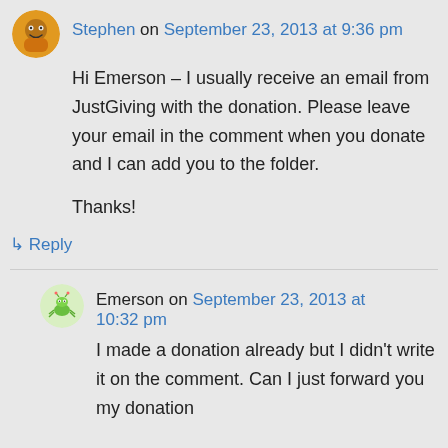Stephen on September 23, 2013 at 9:36 pm
Hi Emerson – I usually receive an email from JustGiving with the donation. Please leave your email in the comment when you donate and I can add you to the folder.

Thanks!
↳ Reply
Emerson on September 23, 2013 at 10:32 pm
I made a donation already but I didn't write it on the comment. Can I just forward you my donation